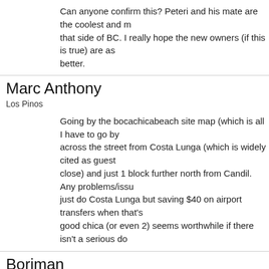Can anyone confirm this? Peteri and his mate are the coolest and most helpful guys on that side of BC. I really hope the new owners (if this is true) are as good or better.
Marc Anthony
Los Pinos
Going by the bocachicabeach site map (which is all I have to go by), Los Pinos is across the street from Costa Lunga (which is widely cited as guest house about to close) and just 1 block further north from Candil. Any problems/issues I might just do Costa Lunga but saving $40 on airport transfers when that's going to a good chica (or even 2) seems worthwhile if there isn't a serious downside.
Boriman
The Candil has been sold to another company. I guess they were looking to get rid of the curfew.
Curry